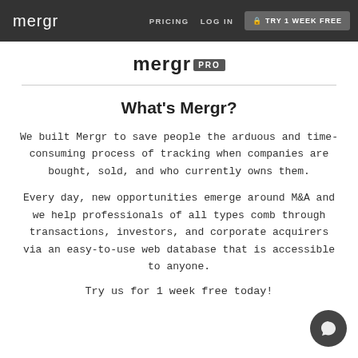mergr  PRICING  LOG IN  TRY 1 WEEK FREE
mergr PRO
What's Mergr?
We built Mergr to save people the arduous and time-consuming process of tracking when companies are bought, sold, and who currently owns them.
Every day, new opportunities emerge around M&A and we help professionals of all types comb through transactions, investors, and corporate acquirers via an easy-to-use web database that is accessible to anyone.
Try us for 1 week free today!